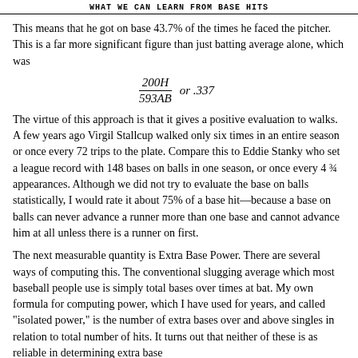WHAT WE CAN LEARN FROM BASE HITS
This means that he got on base 43.7% of the times he faced the pitcher. This is a far more significant figure than just batting average alone, which was
The virtue of this approach is that it gives a positive evaluation to walks. A few years ago Virgil Stallcup walked only six times in an entire season or once every 72 trips to the plate. Compare this to Eddie Stanky who set a league record with 148 bases on balls in one season, or once every 4 ¾ appearances. Although we did not try to evaluate the base on balls statistically, I would rate it about 75% of a base hit—because a base on balls can never advance a runner more than one base and cannot advance him at all unless there is a runner on first.
The next measurable quantity is Extra Base Power. There are several ways of computing this. The conventional slugging average which most baseball people use is simply total bases over times at bat. My own formula for computing power, which I have used for years, and called "isolated power," is the number of extra bases over and above singles in relation to total number of hits. It turns out that neither of these is as reliable in determining extra base